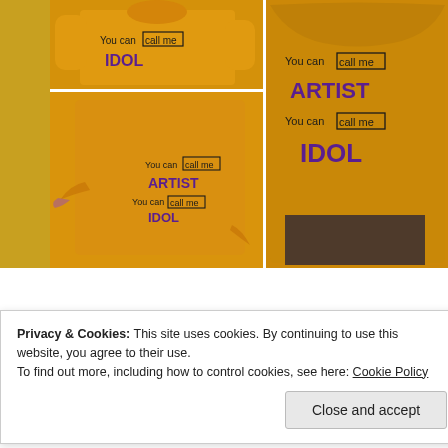[Figure (photo): Collage of three photos showing a person wearing an orange long-sleeve shirt with text 'You can call me ARTIST / You can call me IDOL' printed on it. Top-left shows the front top portion of the shirt with 'You can call me IDOL'. Bottom-left shows someone pointing to the front of the shirt showing both lines. Right large panel shows the back of the shirt with both text lines visible clearly.]
Privacy & Cookies: This site uses cookies. By continuing to use this website, you agree to their use.
To find out more, including how to control cookies, see here: Cookie Policy
Close and accept